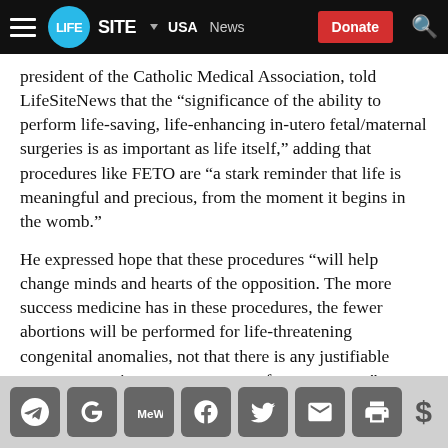LIFESITE ▾ USA  News  Donate
president of the Catholic Medical Association, told LifeSiteNews that the “significance of the ability to perform life-saving, life-enhancing in-utero fetal/maternal surgeries is as important as life itself,” adding that procedures like FETO are “a stark reminder that life is meaningful and precious, from the moment it begins in the womb.”
He expressed hope that these procedures “will help change minds and hearts of the opposition. The more success medicine has in these procedures, the fewer abortions will be performed for life-threatening congenital anomalies, not that there is any justifiable reason to terminate any pregnancy for any reason.”